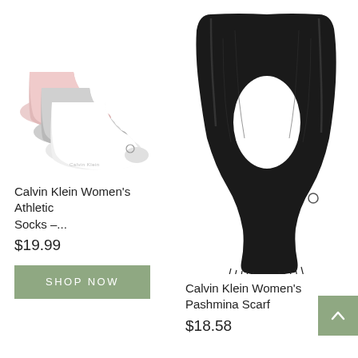[Figure (photo): Calvin Klein Women's Athletic Socks - pink, grey, and white ankle socks stacked, product photo on white background]
Calvin Klein Women's Athletic Socks –...
$19.99
SHOP NOW
[Figure (photo): Calvin Klein Women's Pashmina Scarf - black large rectangular scarf folded and arranged, product photo on white background]
Calvin Klein Women's Pashmina Scarf
$18.58